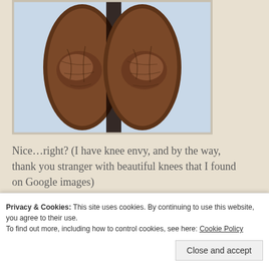[Figure (photo): Close-up photograph of two dark-skinned knees from the front, showing detailed skin texture and musculature, on a light blue background.]
Nice…right? (I have knee envy, and by the way, thank you stranger with beautiful knees that I found on Google images)
Check these babies out…
Privacy & Cookies: This site uses cookies. By continuing to use this website, you agree to their use.
To find out more, including how to control cookies, see here: Cookie Policy
Close and accept